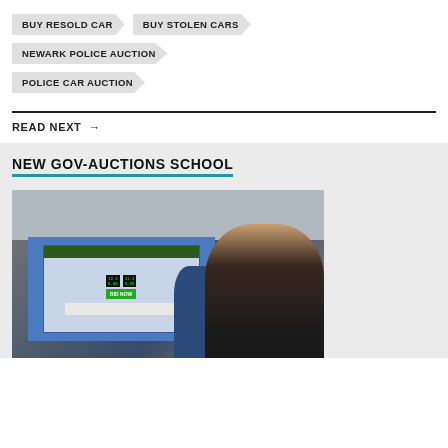BUY RESOLD CAR
BUY STOLEN CARS
NEWARK POLICE AUCTION
POLICE CAR AUCTION
READ NEXT →
NEW GOV-AUCTIONS SCHOOL
[Figure (photo): A woman with blonde hair pointing at a large projection screen displaying a government auctions website, in a room with a drop ceiling. Another person is visible near the screen.]